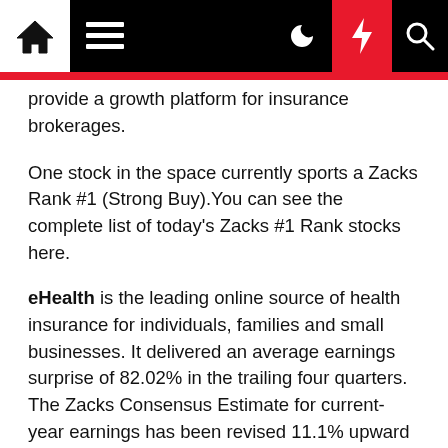[Navigation bar with home, menu, dark mode, lightning/breaking news, search icons]
provide a growth platform for insurance brokerages.
One stock in the space currently sports a Zacks Rank #1 (Strong Buy).You can see the complete list of today's Zacks #1 Rank stocks here.
eHealth is the leading online source of health insurance for individuals, families and small businesses. It delivered an average earnings surprise of 82.02% in the trailing four quarters.  The Zacks Consensus Estimate for current-year earnings has been revised 11.1% upward over the past 30 days.  The expected long-term earnings growth rate is pegged at 21%, better than the industry average of 12.2%.
Here we are presenting three Zacks Rank #2 (Buy)